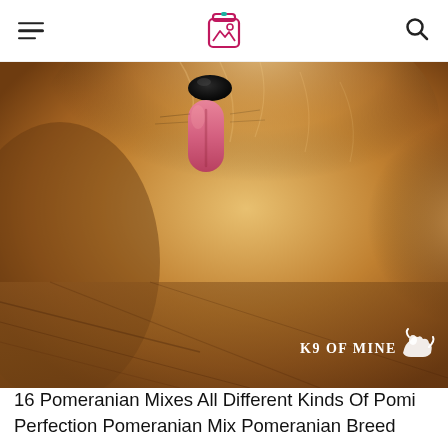K9 of Mine website header with hamburger menu, logo icon, and search icon
[Figure (photo): Close-up photo of a fluffy Pomeranian dog lying on a wooden floor, tongue out, with K9 of Mine watermark in lower right corner]
16 Pomeranian Mixes All Different Kinds Of Pomi Perfection Pomeranian Mix Pomeranian Breed